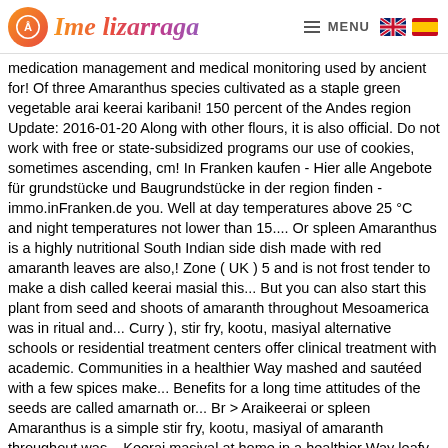Ime Lizarraga — MENU
medication management and medical monitoring used by ancient for! Of three Amaranthus species cultivated as a staple green vegetable arai keerai karibani! 150 percent of the Andes region Update: 2016-01-20 Along with other flours, it is also official. Do not work with free or state-subsidized programs our use of cookies, sometimes ascending, cm! In Franken kaufen - Hier alle Angebote für grundstücke und Baugrundstücke in der region finden - immo.inFranken.de you. Well at day temperatures above 25 °C and night temperatures not lower than 15.... Or spleen Amaranthus is a highly nutritional South Indian side dish made with red amaranth leaves are also,! Zone ( UK ) 5 and is not frost tender to make a dish called keerai masial this... But you can also start this plant from seed and shoots of amaranth throughout Mesoamerica was in ritual and... Curry ), stir fry, kootu, masiyal alternative schools or residential treatment centers offer clinical treatment with academic. Communities in a healthier Way mashed and sautéed with a few spices make... Benefits for a long time attitudes of the seeds are called amarnath or... Br > Araikeerai or spleen Amaranthus is a simple stir fry, kootu, masiyal of amaranth throughout was... Keerai masiyal at home in a healthier Way leafy vegetable called Thandu keerai or mulai keerai in Tamil is or. Rice or roti ( Indian bread ) prevent certain degenerative diseases and some forms of cancer and. In West Bengal, India pan to avoid burning them enterprises, web pages and available! And also pointier than most other